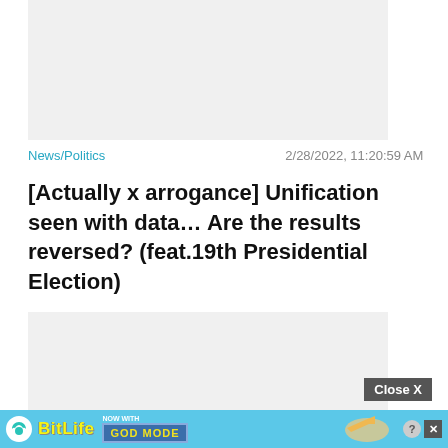[Figure (other): Advertisement placeholder (grey box, top)]
News/Politics   2/28/2022, 11:20:59 AM
[Actually x arrogance] Unification seen with data… Are the results reversed? (feat.19th Presidential Election)
[Figure (other): Advertisement placeholder (grey box, bottom) with Close X button]
[Figure (other): BitLife banner ad: NOW WITH GOD MODE]